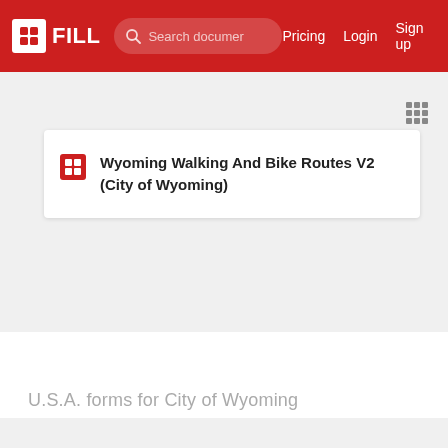FILL | Search documents | Pricing | Login | Sign up
Wyoming Walking And Bike Routes V2 (City of Wyoming)
U.S.A. forms for City of Wyoming